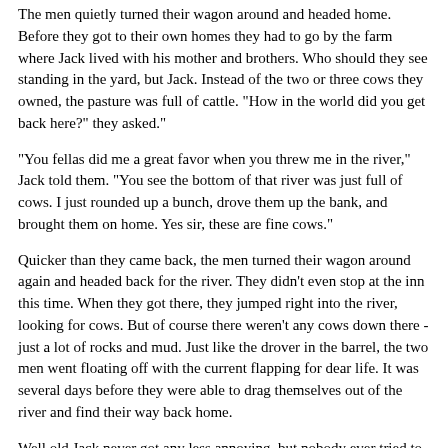The men quietly turned their wagon around and headed home. Before they got to their own homes they had to go by the farm where Jack lived with his mother and brothers. Who should they see standing in the yard, but Jack. Instead of the two or three cows they owned, the pasture was full of cattle. "How in the world did you get back here?" they asked."
"You fellas did me a great favor when you threw me in the river," Jack told them. "You see the bottom of that river was just full of cows. I just rounded up a bunch, drove them up the bank, and brought them on home. Yes sir, these are fine cows."
Quicker than they came back, the men turned their wagon around again and headed back for the river. They didn't even stop at the inn this time. When they got there, they jumped right into the river, looking for cows. But of course there weren't any cows down there - just a lot of rocks and mud. Just like the drover in the barrel, the two men went floating off with the current flapping for dear life. It was several days before they were able to drag themselves out of the river and find their way back home.
Well old Jack never got any less annoying, but nobody ever tried to get shet of him again. Yep, he and his mother are still living there and doing right well, or at least they were the last time I was down that way.